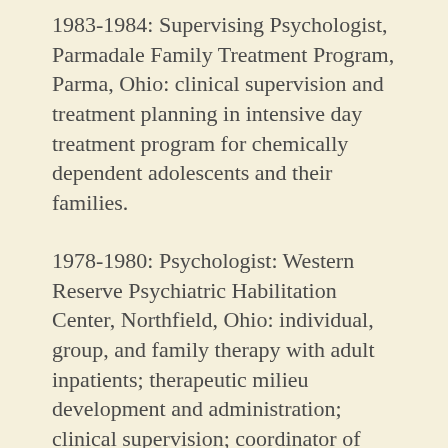1983-1984: Supervising Psychologist, Parmadale Family Treatment Program, Parma, Ohio: clinical supervision and treatment planning in intensive day treatment program for chemically dependent adolescents and their families.
1978-1980: Psychologist: Western Reserve Psychiatric Habilitation Center, Northfield, Ohio: individual, group, and family therapy with adult inpatients; therapeutic milieu development and administration; clinical supervision; coordinator of psychology internship program; psychological assessment; staff training; program consultation; research.
1977-1978: Psychology Assistant, Cambridge Mental Health and Mental Retardation Center, Cambridge...